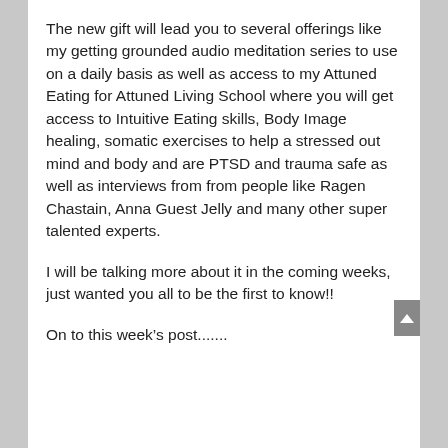The new gift will lead you to several offerings like my getting grounded audio meditation series to use on a daily basis as well as access to my Attuned Eating for Attuned Living School where you will get access to Intuitive Eating skills, Body Image healing, somatic exercises to help a stressed out mind and body and are PTSD and trauma safe as well as interviews from from people like Ragen Chastain, Anna Guest Jelly and many other super talented experts.
I will be talking more about it in the coming weeks, just wanted you all to be the first to know!!
On to this week’s post.......